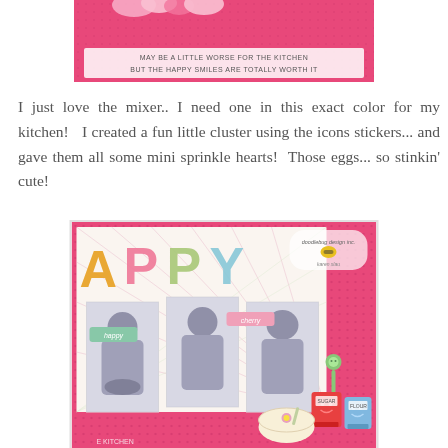[Figure (photo): Top portion of a scrapbook page with pink background, decorative elements, and text strips reading 'may be a little worse for the kitchen but the happy smiles are totally worth it']
I just love the mixer.. I need one in this exact color for my kitchen!  I created a fun little cluster using the icons stickers... and gave them all some mini sprinkle hearts!  Those eggs... so stinkin' cute!
[Figure (photo): Scrapbook layout with pink background showing three black and white photos of a young girl baking/mixing, decorated with colorful letter stickers spelling 'APPY', banner stickers reading 'happy' and 'cherry', cute kitchen icon stickers (spoon, sugar, flour containers, bowl), and a Doodlebug Design Inc logo with 'Karan Slau' signature]